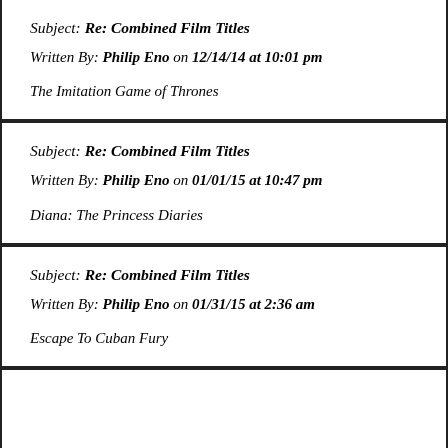Subject: Re: Combined Film Titles
Written By: Philip Eno on 12/14/14 at 10:01 pm

The Imitation Game of Thrones
Subject: Re: Combined Film Titles
Written By: Philip Eno on 01/01/15 at 10:47 pm

Diana: The Princess Diaries
Subject: Re: Combined Film Titles
Written By: Philip Eno on 01/31/15 at 2:36 am

Escape To Cuban Fury